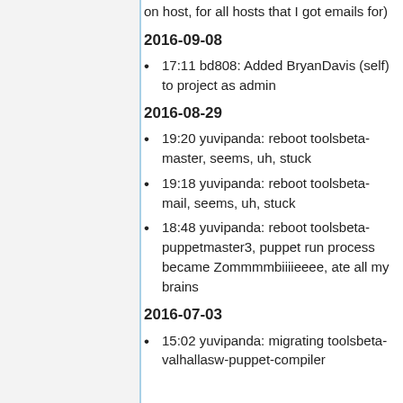on host, for all hosts that I got emails for)
2016-09-08
17:11 bd808: Added BryanDavis (self) to project as admin
2016-08-29
19:20 yuvipanda: reboot toolsbeta-master, seems, uh, stuck
19:18 yuvipanda: reboot toolsbeta-mail, seems, uh, stuck
18:48 yuvipanda: reboot toolsbeta-puppetmaster3, puppet run process became Zommmmbiiiieeee, ate all my brains
2016-07-03
15:02 yuvipanda: migrating toolsbeta-valhallasw-puppet-compiler